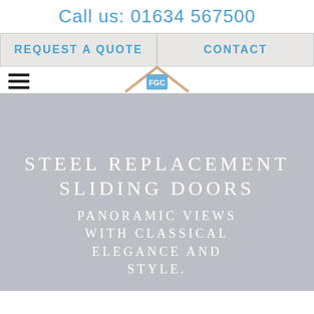Call us: 01634 567500
REQUEST A QUOTE
CONTACT
[Figure (logo): FGC Bespoke Aluminium logo with house/roof outline in peach/salmon and FGC text in blue square]
STEEL REPLACEMENT SLIDING DOORS
PANORAMIC VIEWS WITH CLASSICAL ELEGANCE AND STYLE.